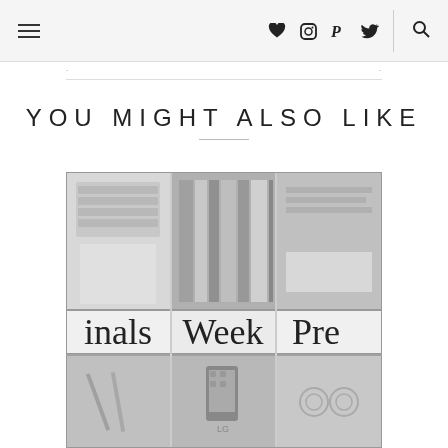Navigation header with hamburger menu, social icons (heart, instagram, pinterest, twitter), search icon
YOU MIGHT ALSO LIKE
[Figure (photo): A 3x2 grid of black-and-white photos: laptop keyboard, books on shelf, and partial text overlays reading 'Finals Week Pre' across the middle row, with more photos below including phone/apps and speakers]